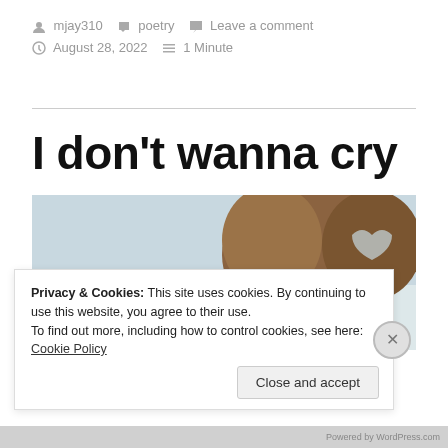mjay310   poetry   Leave a comment   August 28, 2022   1 Minute
I don't wanna cry
[Figure (photo): Close-up photo of what appears to be a stuffed animal or plush toy with a yellow element, light blue background]
Privacy & Cookies: This site uses cookies. By continuing to use this website, you agree to their use. To find out more, including how to control cookies, see here: Cookie Policy
Close and accept